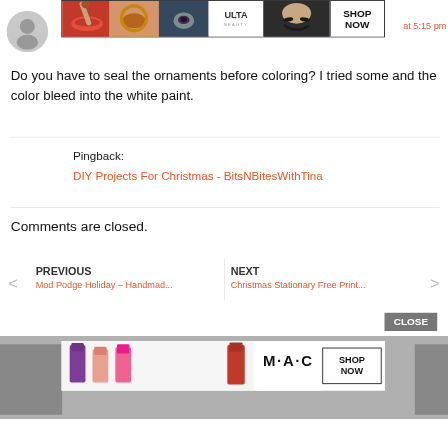[Figure (screenshot): ULTA beauty advertisement banner with makeup photos and SHOP NOW button]
at 5:15 pm
[Figure (illustration): Gray user avatar circle icon]
Do you have to seal the ornaments before coloring? I tried some and the color bleed into the white paint.
Pingback:
DIY Projects For Christmas - BitsNBitesWithTina
Comments are closed.
PREVIOUS
Mod Podge Holiday – Handmad...
NEXT
Christmas Stationary Free Print...
CLOSE
[Figure (screenshot): MAC cosmetics advertisement banner with lipstick products and SHOP NOW button]